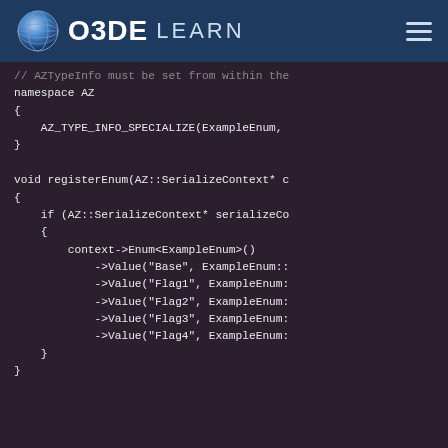O3DE LEARN
[Figure (screenshot): Code screenshot showing C++ code with namespace AZ, AZ_TYPE_INFO_SPECIALIZE for ExampleEnum, and registerEnum function with SerializeContext and Enum value registrations for Base, Flag1, Flag2, Flag3, Flag4]